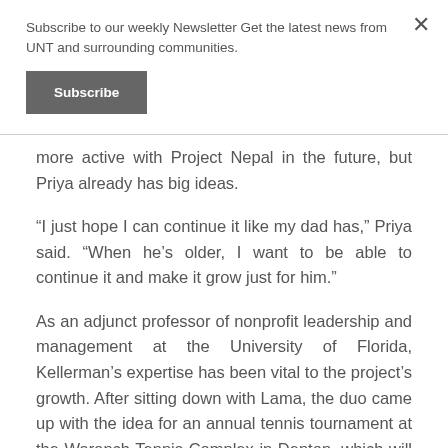Subscribe to our weekly Newsletter Get the latest news from UNT and surrounding communities.
Subscribe
more active with Project Nepal in the future, but Priya already has big ideas.
“I just hope I can continue it like my dad has,” Priya said. “When he’s older, I want to be able to continue it and make it grow just for him.”
As an adjunct professor of nonprofit leadership and management at the University of Florida, Kellerman’s expertise has been vital to the project’s growth. After sitting down with Lama, the duo came up with the idea for an annual tennis tournament at the Waranch Tennis Complex in Denton, which will take